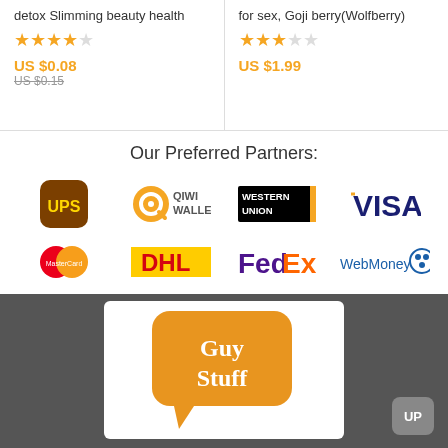detox Slimming beauty health
for sex, Goji berry(Wolfberry)
US $0.08
US $0.15
US $1.99
Our Preferred Partners:
[Figure (logo): UPS logo]
[Figure (logo): QIWI Wallet logo]
[Figure (logo): Western Union logo]
[Figure (logo): VISA logo]
[Figure (logo): MasterCard logo]
[Figure (logo): DHL logo]
[Figure (logo): FedEx logo]
[Figure (logo): WebMoney logo]
[Figure (illustration): Guy Stuff speech bubble logo on white card over dark grey background with UP button]